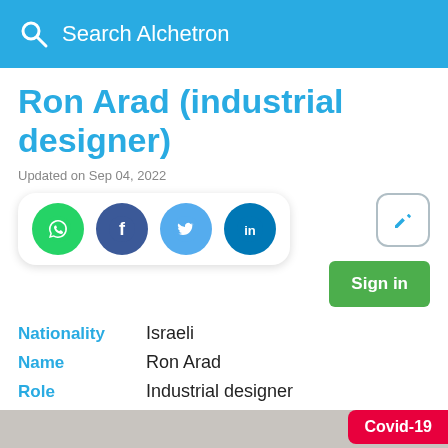Search Alchetron
Ron Arad (industrial designer)
Updated on Sep 04, 2022
[Figure (infographic): Social share icons: WhatsApp (green), Facebook (dark blue), Twitter (light blue), LinkedIn (dark blue), plus edit button and Sign in button]
Nationality   Israeli
Name   Ron Arad
Role   Industrial designer
[Figure (other): Covid-19 badge in red at bottom right]